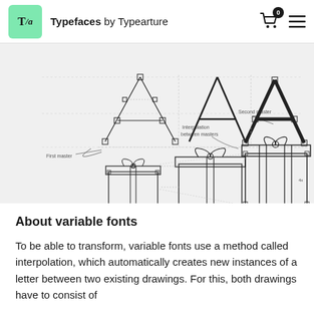Typefaces by Typearture
[Figure (illustration): Technical diagram showing variable font interpolation. Three letter A outlines shown with bezier control points, progressing from thin (First master) to bold (Second master), with 'Interpolation between masters' label in the middle. Below, three gift box illustrations show the same interpolation concept with boxes growing from small to large, connected by diagonal construction lines.]
About variable fonts
To be able to transform, variable fonts use a method called interpolation, which automatically creates new instances of a letter between two existing drawings. For this, both drawings have to consist of